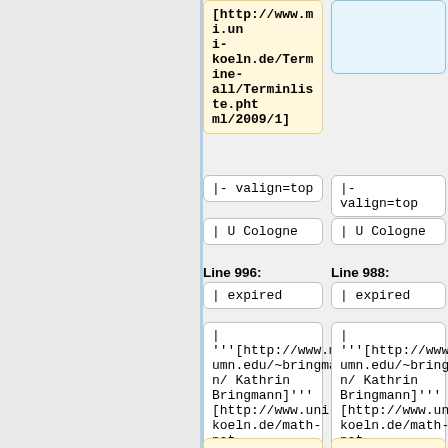[http://www.mi.uni-koeln.de/Termine-all/Terminliste.phtml/2009/1]
|- valign=top
|- valign=top
| U Cologne
| U Cologne
Line 996:
Line 988:
| expired
| expired
| '''[http://www.math.umn.edu/~bringman/ Kathrin Bringmann]''' [http://www.uni-koeln.de/math-nat-fak/fakultaet/mitteilungen/data/fm44.html]
| '''[http://www.math.umn.edu/~bringman/ Kathrin Bringmann]''' [http://www.uni-koeln.de/math-nat-fak/fakultaet/mitteilungen/data/fm44.html]